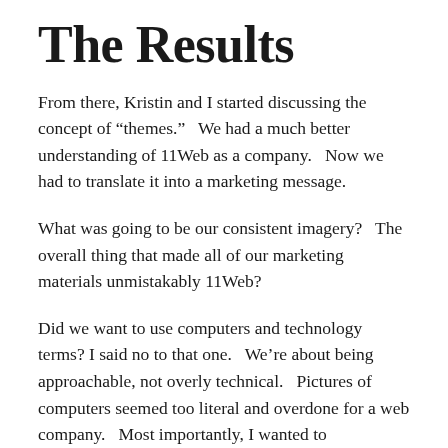The Results
From there, Kristin and I started discussing the concept of “themes.”  We had a much better understanding of 11Web as a company.  Now we had to translate it into a marketing message.
What was going to be our consistent imagery?  The overall thing that made all of our marketing materials unmistakably 11Web?
Did we want to use computers and technology terms? I said no to that one.  We’re about being approachable, not overly technical.  Pictures of computers seemed too literal and overdone for a web company.  Most importantly, I wanted to